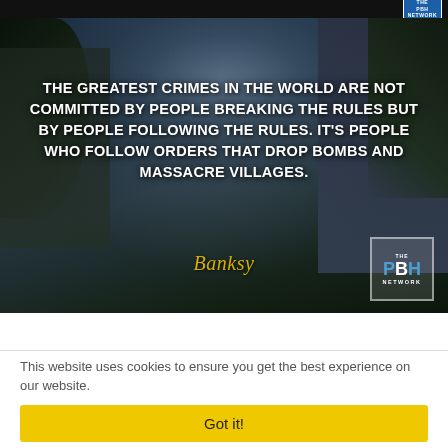[Figure (illustration): Dark atmospheric image of an abandoned courtyard with stormy sky, trees, and buildings. White bold uppercase text overlaid with a Banksy quote. PBH Network logo in bottom right corner.]
This website uses cookies to ensure you get the best experience on our website.
Got it!